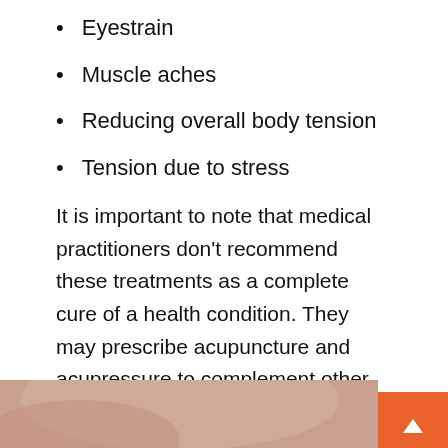Eyestrain
Muscle aches
Reducing overall body tension
Tension due to stress
It is important to note that medical practitioners don’t recommend these treatments as a complete cure of a health condition. They may prescribe acupuncture and acupressure to complement other treatments.
Which Treatment is Better?
[Figure (photo): Close-up photo of a person's face/skin, partially visible at the bottom of the page, with an orange scroll-to-top button in the bottom right corner.]